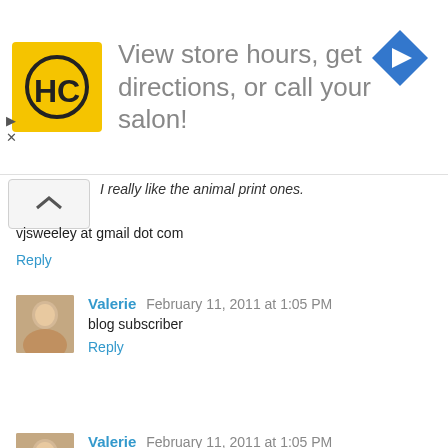[Figure (infographic): Ad banner: HC logo (yellow square with HC letters), text 'View store hours, get directions, or call your salon!', blue diamond arrow icon on right, play/close controls on left]
I really like the animal print ones.
vjsweeley at gmail dot com
Reply
Valerie  February 11, 2011 at 1:05 PM
blog subscriber
Reply
Valerie  February 11, 2011 at 1:05 PM
follow you on twitter: valceratops
Reply